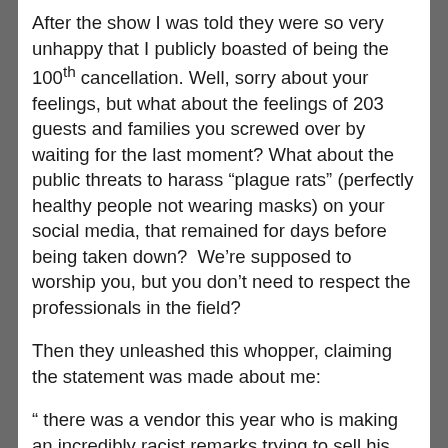After the show I was told they were so very unhappy that I publicly boasted of being the 100th cancellation. Well, sorry about your feelings, but what about the feelings of 203 guests and families you screwed over by waiting for the last moment? What about the public threats to harass “plague rats” (perfectly healthy people not wearing masks) on your social media, that remained for days before being taken down?  We’re supposed to worship you, but you don’t need to respect the professionals in the field?
Then they unleashed this whopper, claiming the statement was made about me:
“ there was a vendor this year who is making an incredibly racist remarks trying to sell his wares. Including things like “buy a knife from someone who speaks American” and “this is made with real metal, not ‘Chineseium’.” Worse than all of that